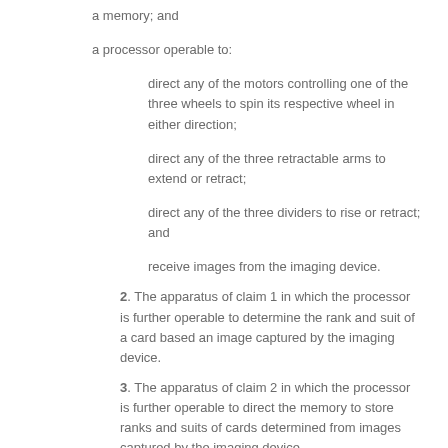a memory; and
a processor operable to:
direct any of the motors controlling one of the three wheels to spin its respective wheel in either direction;
direct any of the three retractable arms to extend or retract;
direct any of the three dividers to rise or retract; and
receive images from the imaging device.
2. The apparatus of claim 1 in which the processor is further operable to determine the rank and suit of a card based an image captured by the imaging device.
3. The apparatus of claim 2 in which the processor is further operable to direct the memory to store ranks and suits of cards determined from images captured by the imaging device.
4. The apparatus of claim 3 in which the processor is further operable to:
direct the third retractable arm to extend, thereby